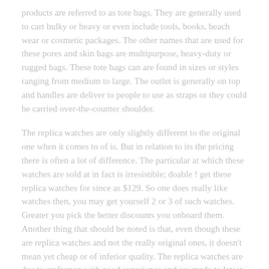products are referred to as tote bags. They are generally used to cart bulky or heavy or even include tools, books, beach wear or cosmetic packages. The other names that are used for these pores and skin bags are multipurpose, heavy-duty or rugged bags. These tote bags can are found in sizes or styles ranging from medium to large. The outlet is generally on top and handles are deliver to people to use as straps or they could be carried over-the-counter shoulder.
The replica watches are only slightly different to the original one when it comes to of is. But in relation to its the pricing there is often a lot of difference. The particular at which these watches are sold at in fact is irresistible; doable ! get these replica watches for since as $129. So one does really like watches then, you may get yourself 2 or 3 of such watches. Greater you pick the better discounts you onboard them. Another thing that should be noted is that, even though these are replica watches and not the really original ones, it doesn't mean yet cheap or of inferior quality. The replica watches are due to craftsmen with good experience and are made to latest.